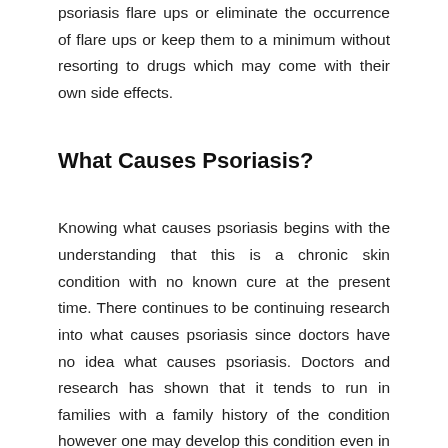psoriasis flare ups or eliminate the occurrence of flare ups or keep them to a minimum without resorting to drugs which may come with their own side effects.
What Causes Psoriasis?
Knowing what causes psoriasis begins with the understanding that this is a chronic skin condition with no known cure at the present time. There continues to be continuing research into what causes psoriasis since doctors have no idea what causes psoriasis. Doctors and research has shown that it tends to run in families with a family history of the condition however one may develop this condition even in the absence of a family history. In addition, simply having a family history does not automatically mean that that one will develop the